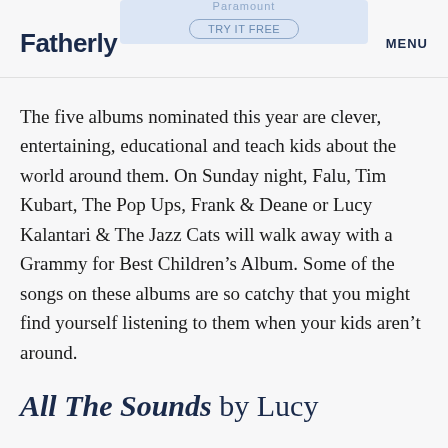Fatherly | TRY IT FREE | MENU
The five albums nominated this year are clever, entertaining, educational and teach kids about the world around them. On Sunday night, Falu, Tim Kubart, The Pop Ups, Frank & Deane or Lucy Kalantari & The Jazz Cats will walk away with a Grammy for Best Children’s Album. Some of the songs on these albums are so catchy that you might find yourself listening to them when your kids aren’t around.
All The Sounds by Lucy Kalantari & The Jazz Cats